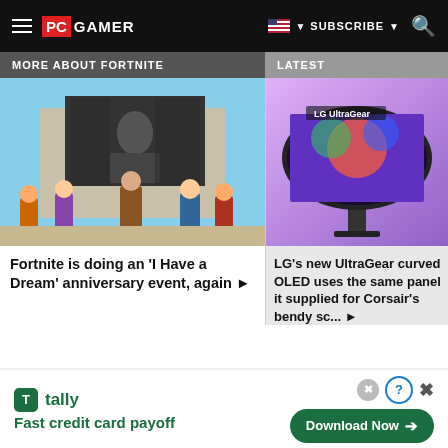PC GAMER | SUBSCRIBE | Search
MORE ABOUT FORTNITE
LATEST
[Figure (photo): Fortnite game screenshot showing MLK 'I Have a Dream' event with cartoon characters in front of a monument screen]
Fortnite is doing an 'I Have a Dream' anniversary event, again ▶
[Figure (photo): LG UltraGear curved OLED monitor on purple background]
LG's new UltraGear curved OLED uses the same panel it supplied for Corsair's bendy sc... ▶
[Figure (infographic): Tally app advertisement: Fast credit card payoff with Download Now button]